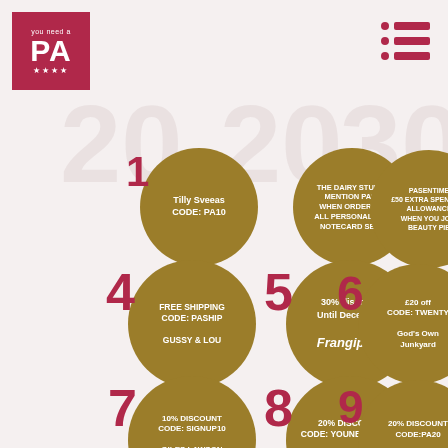[Figure (logo): You Need a PA logo - pink square with PA text]
[Figure (infographic): Grid of numbered golden circles with discount codes and offers: 1-Tilly Sveeas CODE:PA10, 2-The Dairy Studio mention PA10 when ordering all personalised notecard sets, 3-PASENTIME £50 extra spending allowance when you join Beauty Pie, 4-Free Shipping CODE:PASHIP Gussy & Lou, 5-30% discount until December Frangipani, 6-£20 off CODE:TWENTY God's Own Junkyard, 7-10% discount CODE:SIGNUP10 Giles Lawson Johnson, 8-20% discount CODE:YOUNEEDAPA20 Pentire, 9-20% discount CODE:PA20 Olivier Baby, 10-10% discount until xmas CODE:XMAS10 Pompom, 11-10% discount CODE:WELCOME OMG Kitty Club, 12-10% discount quote CODE:THANKYOU on Instagram Whisky S...]